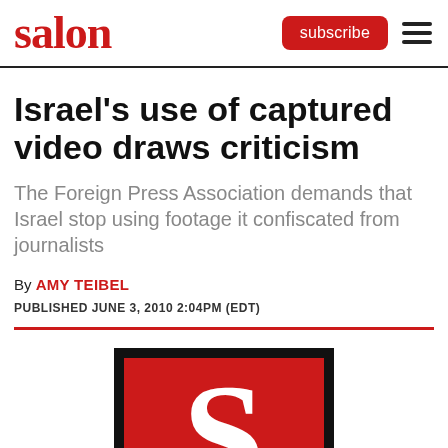salon | subscribe
Israel's use of captured video draws criticism
The Foreign Press Association demands that Israel stop using footage it confiscated from journalists
By AMY TEIBEL
PUBLISHED JUNE 3, 2010 2:04PM (EDT)
[Figure (logo): Salon magazine logo — large white S on red square with black border]